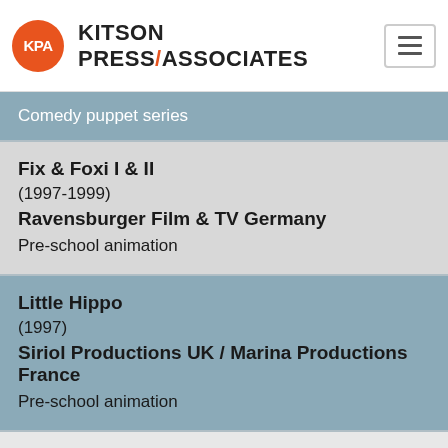KPA KITSON PRESS/ASSOCIATES
St Bear's Hospital
Egmont / Nordisk Film & TV Denmark
Comedy puppet series
Fix & Foxi I & II
(1997-1999)
Ravensburger Film & TV Germany
Pre-school animation
Little Hippo
(1997)
Siriol Productions UK / Marina Productions France
Pre-school animation